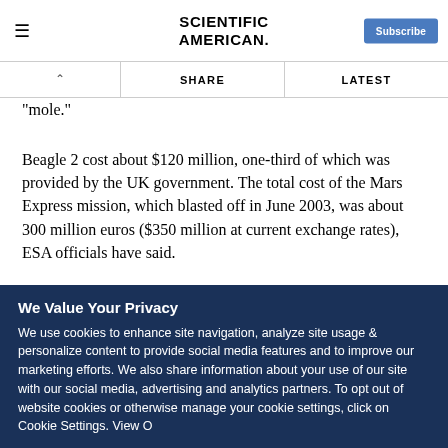SCIENTIFIC AMERICAN
"mole."
Beagle 2 cost about $120 million, one-third of which was provided by the UK government. The total cost of the Mars Express mission, which blasted off in June 2003, was about 300 million euros ($350 million at current exchange rates), ESA officials have said.
We Value Your Privacy
We use cookies to enhance site navigation, analyze site usage & personalize content to provide social media features and to improve our marketing efforts. We also share information about your use of our site with our social media, advertising and analytics partners. To opt out of website cookies or otherwise manage your cookie settings, click on Cookie Settings. View O